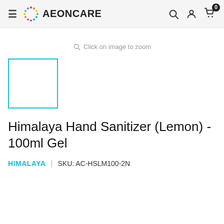AEONCARE — navigation header with hamburger menu, logo, search, account, and cart (0 items)
Click on image to zoom
[Figure (other): Product thumbnail placeholder — white square with teal border]
Himalaya Hand Sanitizer (Lemon) - 100ml Gel
HIMALAYA | SKU: AC-HSLM100-2N